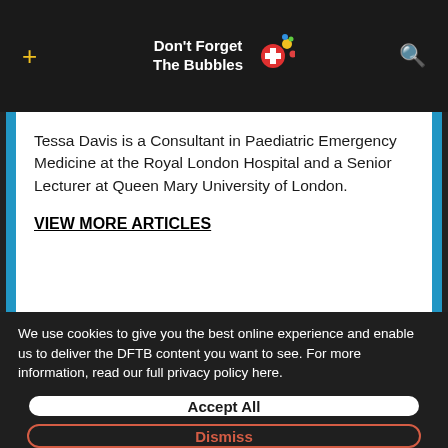Don't Forget The Bubbles
Tessa Davis is a Consultant in Paediatric Emergency Medicine at the Royal London Hospital and a Senior Lecturer at Queen Mary University of London.
VIEW MORE ARTICLES
We use cookies to give you the best online experience and enable us to deliver the DFTB content you want to see. For more information, read our full privacy policy here.
Accept All
Dismiss